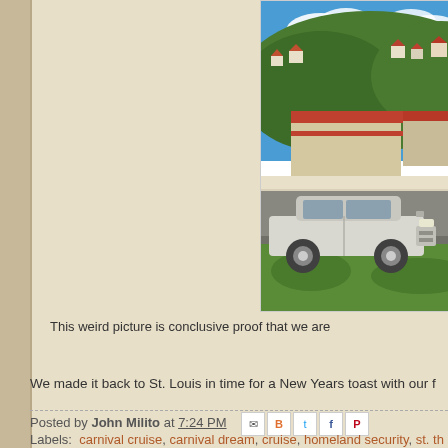[Figure (photo): A silver SUV (Suzuki Grand Vitara or similar) parked on a road with green grass in the foreground, a building with red/orange roof in the background, green hillside with houses, and blue sky with white clouds. Tropical Caribbean setting.]
This weird picture is conclusive proof that we are
We made it back to St. Louis in time for a New Years toast with our f
Posted by John Milito at 7:24 PM
Labels: carnival cruise, carnival dream, cruise, homeland security, st. th